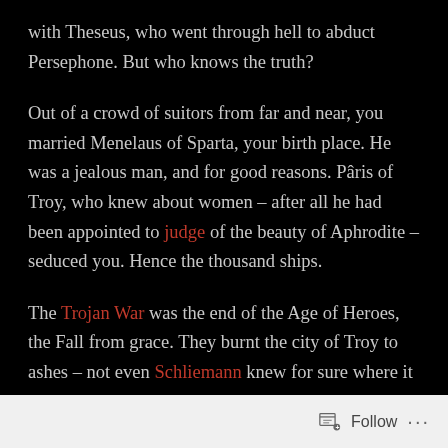with Theseus, who went through hell to abduct Persephone.  But who knows the truth?
Out of a crowd of suitors from far and near, you married Menelaus of Sparta, your birth place.  He was a jealous man, and for good reasons.  Pâris of Troy, who knew about women – after all he had been appointed to judge of the beauty of Aphrodite – seduced you.  Hence the thousand ships.
The Trojan War was the end of the Age of Heroes, the Fall from grace.  They burnt the city of Troy to ashes – not even Schliemann knew for sure where it was –  and you died in Rhodes, where you are known as Helen of the Tree.
Follow ...